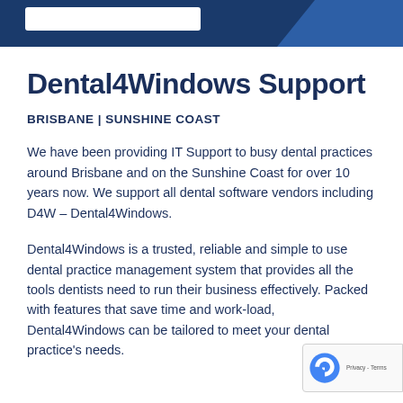[Figure (other): Dark blue navigation header banner with a white search bar on the left and a lighter blue diagonal shape on the right]
Dental4Windows Support
BRISBANE | SUNSHINE COAST
We have been providing IT Support to busy dental practices around Brisbane and on the Sunshine Coast for over 10 years now. We support all dental software vendors including D4W – Dental4Windows.
Dental4Windows is a trusted, reliable and simple to use dental practice management system that provides all the tools dentists need to run their business effectively. Packed with features that save time and work-load, Dental4Windows can be tailored to meet your dental practice's needs.